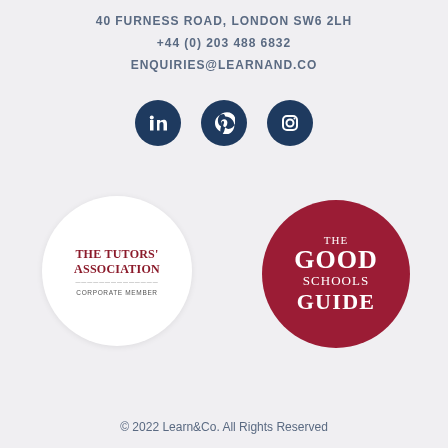40 FURNESS ROAD, LONDON SW6 2LH
+44 (0) 203 488 6832
ENQUIRIES@LEARNAND.CO
[Figure (illustration): Three dark navy circular social media icon buttons: LinkedIn, Pinterest, Instagram]
[Figure (logo): The Tutors' Association Corporate Member badge — white circle with red serif text]
[Figure (logo): The Good Schools Guide badge — dark red circle with white serif text]
© 2022 Learn&Co. All Rights Reserved